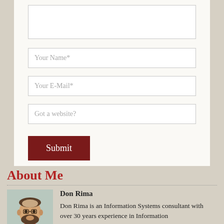[Comment textarea]
Your Name*
Your E-Mail*
Got a website?
Submit
About Me
Don Rima
Don Rima is an Information Systems consultant with over 30 years experience in Information